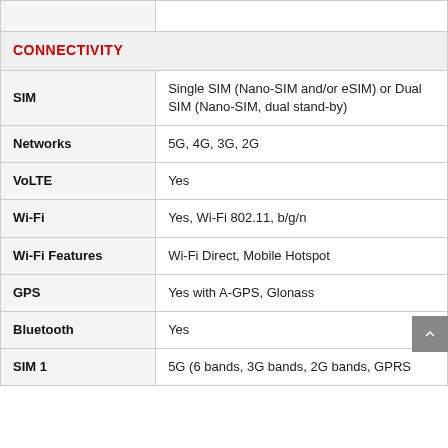| Feature | Value |
| --- | --- |
|  |  |
| CONNECTIVITY |  |
| SIM | Single SIM (Nano-SIM and/or eSIM) or Dual SIM (Nano-SIM, dual stand-by) |
| Networks | 5G, 4G, 3G, 2G |
| VoLTE | Yes |
| Wi-Fi | Yes, Wi-Fi 802.11, b/g/n |
| Wi-Fi Features | Wi-Fi Direct, Mobile Hotspot |
| GPS | Yes with A-GPS, Glonass |
| Bluetooth | Yes |
| SIM 1 | 5G (6 bands, 3G bands, 2G bands, GPRS... |